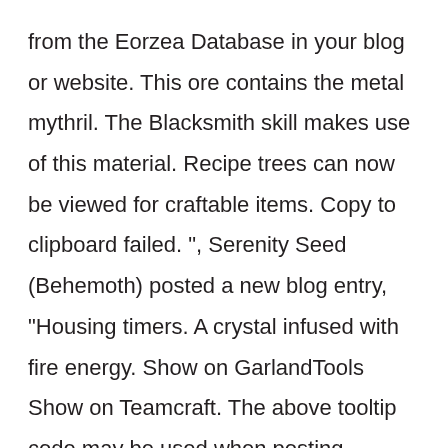from the Eorzea Database in your blog or website. This ore contains the metal mythril. The Blacksmith skill makes use of this material. Recipe trees can now be viewed for craftable items. Copy to clipboard failed. ", Serenity Seed (Behemoth) posted a new blog entry, "Housing timers. A crystal infused with fire energy. Show on GarlandTools Show on Teamcraft. The above tooltip code may be used when posting comments in the Eorzea Database, creating blog entries, or accessing the Event & Party Recruitment page. On the Minimap, Mythril ore shows up as a light blue, not green. The above tooltip code can be used to embed entries from the Eorzea